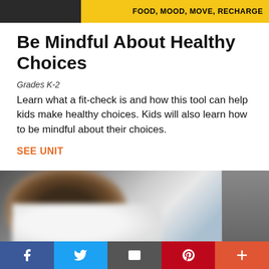FOOD, MOOD, MOVE, RECHARGE
Be Mindful About Healthy Choices
Grades K-2
Learn what a fit-check is and how this tool can help kids make healthy choices. Kids will also learn how to be mindful about their choices.
SEE UNIT
[Figure (photo): Blurred close-up photo of a child, partially visible, with a lighter background and a dark panel on the right side]
Social share bar with Facebook, Twitter, Email, Pinterest, and More buttons